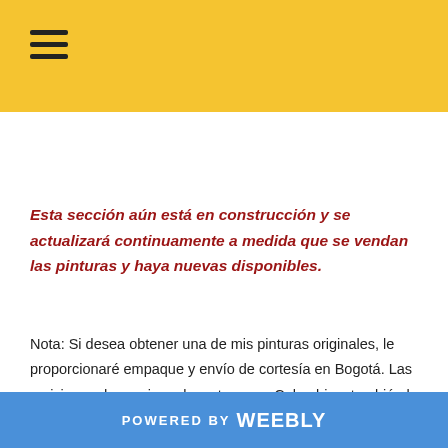≡
Esta sección aún está en construcción y se actualizará continuamente a medida que se vendan las pinturas y haya nuevas disponibles.
Nota: Si desea obtener una de mis pinturas originales, le proporcionaré empaque y envío de cortesía en Bogotá. Las revisiones de precios relevantes para Colombia y también la traducción de este sitio de una plataforma de diseño está
POWERED BY weebly